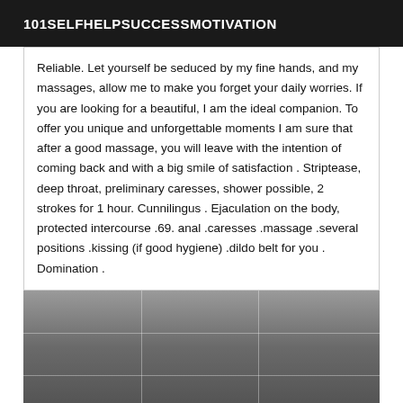101SELFHELPSUCCESSMOTIVATION
Reliable. Let yourself be seduced by my fine hands, and my massages, allow me to make you forget your daily worries. If you are looking for a beautiful, I am the ideal companion. To offer you unique and unforgettable moments I am sure that after a good massage, you will leave with the intention of coming back and with a big smile of satisfaction . Striptease, deep throat, preliminary caresses, shower possible, 2 strokes for 1 hour. Cunnilingus . Ejaculation on the body, protected intercourse .69. anal .caresses .massage .several positions .kissing (if good hygiene) .dildo belt for you . Domination .
[Figure (photo): Photograph of a bathroom or tiled interior space, partially visible, with gray tones.]